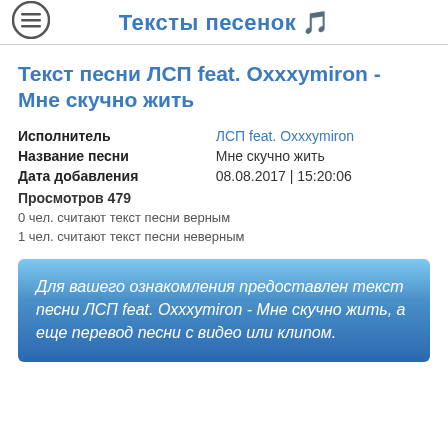Тексты песенок 🎵
Текст песни ЛСП feat. Oxxxymiron - Мне скучно жить
| Исполнитель | ЛСП feat. Oxxxymiron |
| Название песни | Мне скучно жить |
| Дата добавления | 08.08.2017 | 15:20:06 |
Просмотров 479
0 чел. считают текст песни верным
1 чел. считают текст песни неверным
Для вашего ознакомления предоставлен текст песни ЛСП feat. Oxxxymiron - Мне скучно жить, а еще перевод песни с видео или клипом.